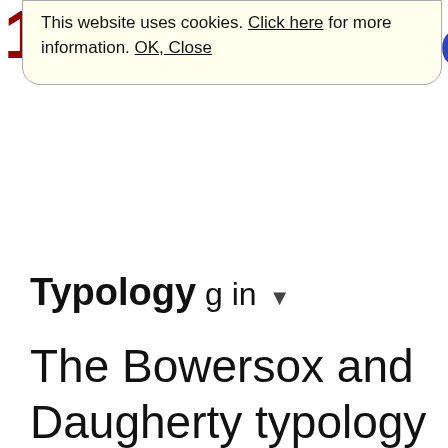12
This website uses cookies. Click here for more information. OK, Close
Typology g in
The Bowersox and Daugherty typology is a qualitative typology identifying three